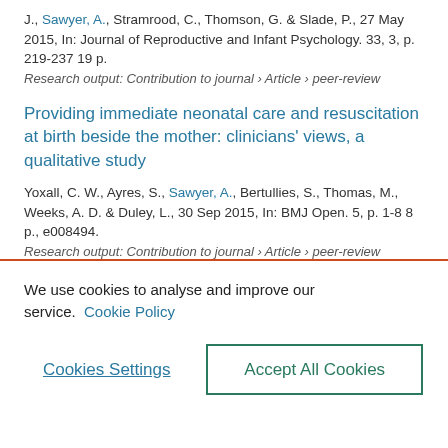J., Sawyer, A., Stramrood, C., Thomson, G. & Slade, P., 27 May 2015, In: Journal of Reproductive and Infant Psychology. 33, 3, p. 219-237 19 p.
Research output: Contribution to journal › Article › peer-review
Providing immediate neonatal care and resuscitation at birth beside the mother: clinicians' views, a qualitative study
Yoxall, C. W., Ayres, S., Sawyer, A., Bertullies, S., Thomas, M., Weeks, A. D. & Duley, L., 30 Sep 2015, In: BMJ Open. 5, p. 1-8 8 p., e008494.
Research output: Contribution to journal › Article › peer-review
We use cookies to analyse and improve our service. Cookie Policy
Cookies Settings
Accept All Cookies